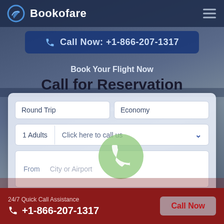[Figure (screenshot): Bookofare travel booking website screenshot showing navigation bar with logo and hamburger menu, a call now button, hero text 'Book Your Flight Now / Call for Reservation', a booking form with Round Trip/Economy dropdowns, 1 Adults / Click here to call us row, and From City or Airport field. Bottom bar shows 24/7 Quick Call Assistance, +1-866-207-1317, and a Call Now button.]